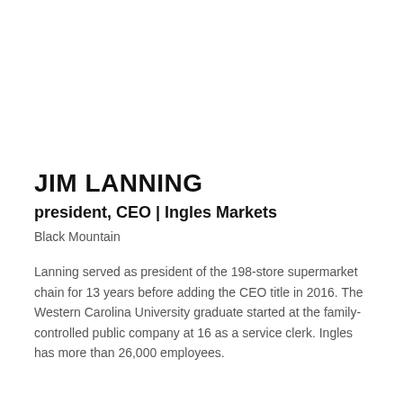JIM LANNING
president, CEO | Ingles Markets
Black Mountain
Lanning served as president of the 198-store supermarket chain for 13 years before adding the CEO title in 2016. The Western Carolina University graduate started at the family-controlled public company at 16 as a service clerk. Ingles has more than 26,000 employees.